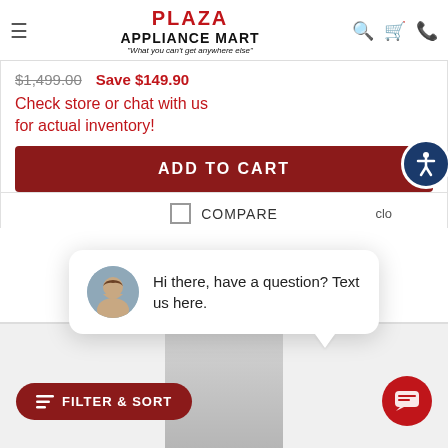PLAZA APPLIANCE MART — "What you can't get anywhere else"
$1,499.00  Save $149.90
Check store or chat with us for actual inventory!
ADD TO CART
COMPARE
Hi there, have a question? Text us here.
FILTER & SORT